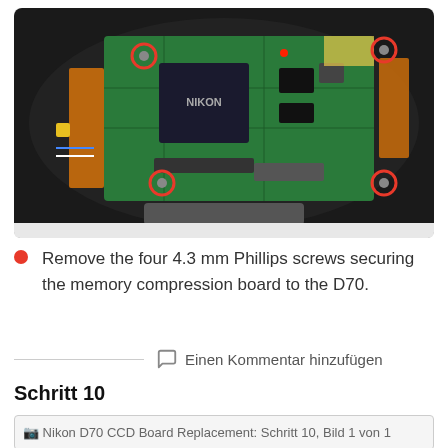[Figure (photo): Interior of a Nikon D70 camera showing the main circuit board (memory compression board) with four highlighted screws in red circles at the corners and center-left of the board. The green PCB is visible with various chips and connectors, orange ribbon cables visible on sides.]
Remove the four 4.3 mm Phillips screws securing the memory compression board to the D70.
Einen Kommentar hinzufügen
Schritt 10
[Figure (photo): Nikon D70 CCD Board Replacement: Schritt 10, Bild 1 von 1]